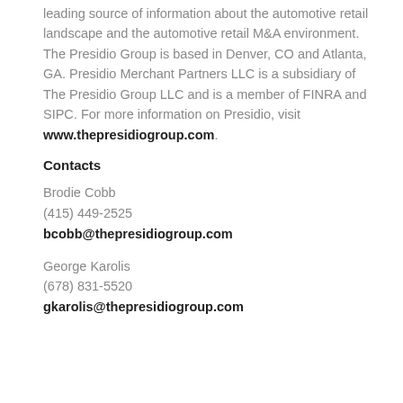leading source of information about the automotive retail landscape and the automotive retail M&A environment. The Presidio Group is based in Denver, CO and Atlanta, GA. Presidio Merchant Partners LLC is a subsidiary of The Presidio Group LLC and is a member of FINRA and SIPC. For more information on Presidio, visit www.thepresidiogroup.com.
Contacts
Brodie Cobb
(415) 449-2525
bcobb@thepresidiogroup.com
George Karolis
(678) 831-5520
gkarolis@thepresidiogroup.com